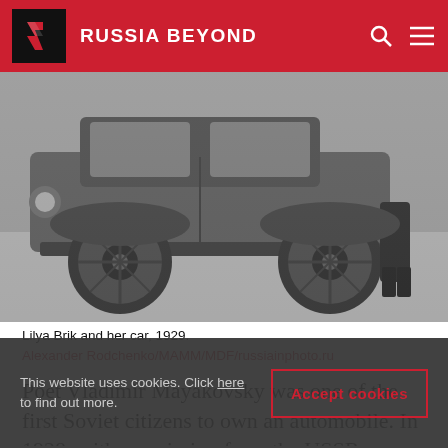RUSSIA BEYOND
[Figure (photo): Black and white photograph of Lilya Brik and her Renault NN car, 1929. Shows the lower portion of the automobile with large spoked wheels and a person's legs/feet visible beside the car.]
Lilya Brik and her car, 1929.
Alexander Rodchenko/MAMM/MDF/russiainphoto.ru
Poet Vladimir Mayakovsky was one of the first Soviet citizens to own an automobile. In 1928, with permission from the USSR Commissariat for External and Internal Trade, he brought a Renault NN from France for his mistress Lilya Brik.